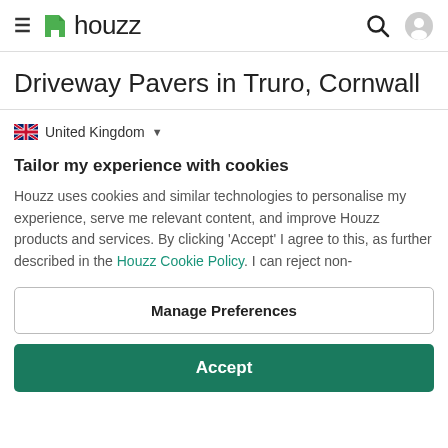houzz
Driveway Pavers in Truro, Cornwall
🇬🇧 United Kingdom ▾
Tailor my experience with cookies
Houzz uses cookies and similar technologies to personalise my experience, serve me relevant content, and improve Houzz products and services. By clicking 'Accept' I agree to this, as further described in the Houzz Cookie Policy. I can reject non-
Manage Preferences
Accept